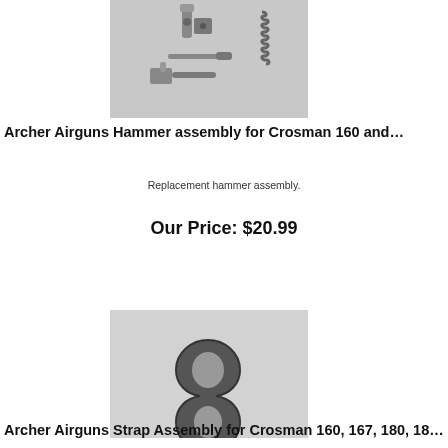[Figure (photo): Hammer assembly parts for Crosman 160 airgun — metal components including hammer, pins, and spring laid out on gray background]
Archer Airguns Hammer assembly for Crosman 160 and...
Replacement hammer assembly.
Our Price: $20.99
[Figure (photo): Strap assembly part for Crosman 160, 167, 180, 18x — dark metal strap loop/figure-8 shaped component on light gray background]
Archer Airguns Strap Assembly for Crosman 160, 167, 180, 18...